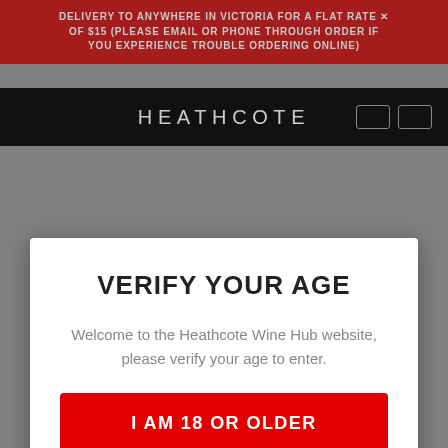DELIVERY TO ANYWHERE IN VICTORIA FOR A FLAT RATE OF $15 (PLEASE EMAIL OR PHONE THROUGH ORDER IF YOU EXPERIENCE TROUBLE ORDERING ONLINE)
HEATHCOTE
VERIFY YOUR AGE
Welcome to the Heathcote Wine Hub website, please verify your age to enter.
I AM 18 OR OLDER
or  Exit